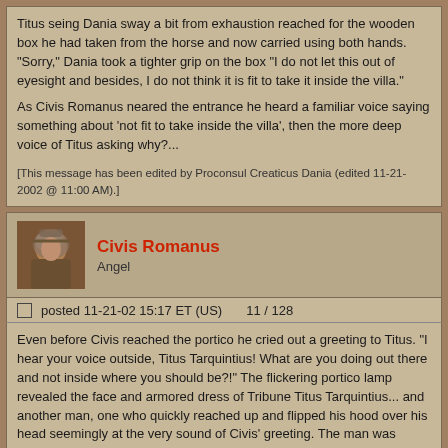Titus seing Dania sway a bit from exhaustion reached for the wooden box he had taken from the horse and now carried using both hands. "Sorry," Dania took a tighter grip on the box "I do not let this out of eyesight and besides, I do not think it is fit to take it inside the villa."

As Civis Romanus neared the entrance he heard a familiar voice saying something about 'not fit to take inside the villa', then the more deep voice of Titus asking why?...
[This message has been edited by Proconsul Creaticus Dania (edited 11-21-2002 @ 11:00 AM).]
Civis Romanus
Angel
posted 11-21-02 15:17 ET (US)    11 / 128
Even before Civis reached the portico he cried out a greeting to Titus. "I hear your voice outside, Titus Tarquintius! What are you doing out there and not inside where you should be?!" The flickering portico lamp revealed the face and armored dress of Tribune Titus Tarquintius... and another man, one who quickly reached up and flipped his hood over his head seemingly at the very sound of Civis' greeting. The man was shorter than Titus, who was taller than both, and imperceptively shorter than Civis. The hooded man carried an oddly engraved wooden box.

Civis greeted Titus arm to arm in the Roman fashion, broadly smiling in welcome. "What kept you, young Tribune? I began to think the